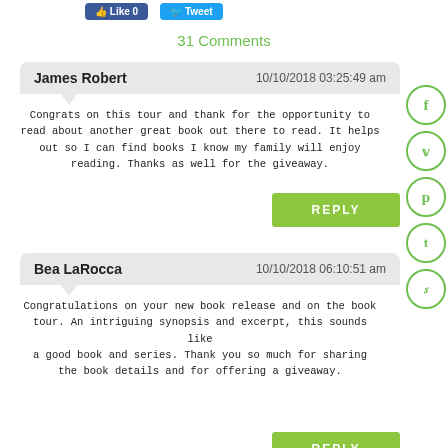Like 0   Tweet
31 Comments
James Robert   10/10/2018 03:25:49 am
Congrats on this tour and thank for the opportunity to read about another great book out there to read. It helps out so I can find books I know my family will enjoy reading. Thanks as well for the giveaway.
REPLY
Bea LaRocca   10/10/2018 06:10:51 am
Congratulations on your new book release and on the book tour. An intriguing synopsis and excerpt, this sounds like a good book and series. Thank you so much for sharing the book details and for offering a giveaway.